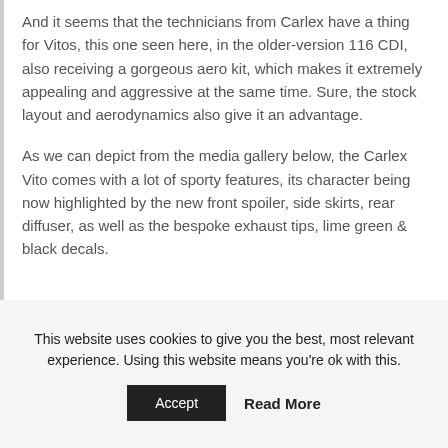And it seems that the technicians from Carlex have a thing for Vitos, this one seen here, in the older-version 116 CDI, also receiving a gorgeous aero kit, which makes it extremely appealing and aggressive at the same time. Sure, the stock layout and aerodynamics also give it an advantage.
As we can depict from the media gallery below, the Carlex Vito comes with a lot of sporty features, its character being now highlighted by the new front spoiler, side skirts, rear diffuser, as well as the bespoke exhaust tips, lime green & black decals.
This website uses cookies to give you the best, most relevant experience. Using this website means you're ok with this.